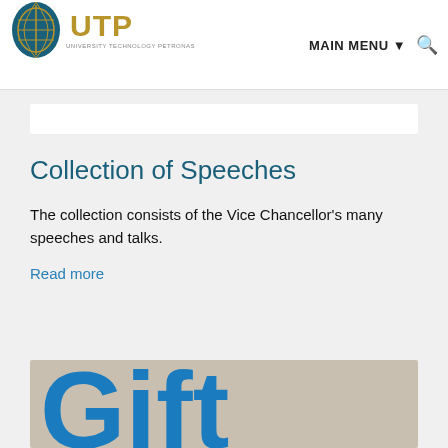UTP UNIVERSITY TECHNOLOGY PETRONAS — MAIN MENU — Search
Collection of Speeches
The collection consists of the Vice Chancellor's many speeches and talks.
Read more
[Figure (photo): Large blue 'Gift' text letters on a beige/grey background, partially cropped]